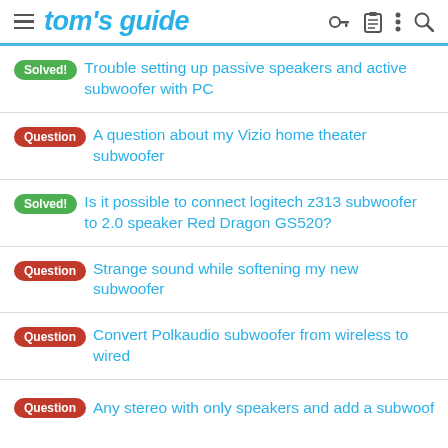tom's guide
Solved! Trouble setting up passive speakers and active subwoofer with PC
Question A question about my Vizio home theater subwoofer
Solved! Is it possible to connect logitech z313 subwoofer to 2.0 speaker Red Dragon GS520?
Question Strange sound while softening my new subwoofer
Question Convert Polkaudio subwoofer from wireless to wired
Question Any stereo with only speakers and add a subwoofer